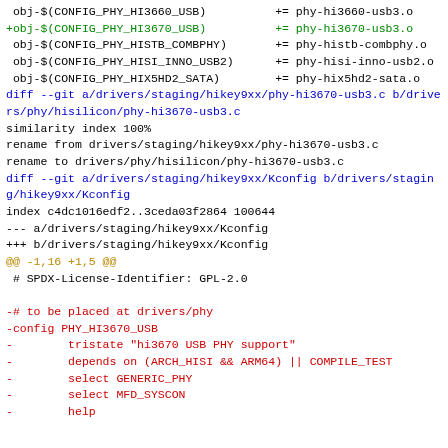Code diff showing Makefile and Kconfig changes for phy-hi3670-usb3 driver staging to hisilicon phy directory